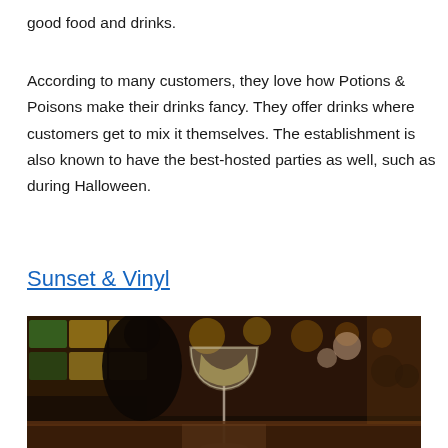good food and drinks.
According to many customers, they love how Potions & Poisons make their drinks fancy. They offer drinks where customers get to mix it themselves. The establishment is also known to have the best-hosted parties as well, such as during Halloween.
Sunset & Vinyl
[Figure (photo): Bar scene with a wine glass in the foreground, a bartender in the background, warm golden bokeh lights along a bar counter.]